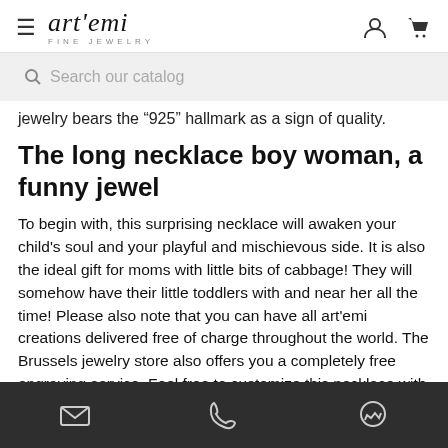art'emi fine jewelry
Search our catalog
jewelry bears the "925" hallmark as a sign of quality.
The long necklace boy woman, a funny jewel
To begin with, this surprising necklace will awaken your child's soul and your playful and mischievous side. It is also the ideal gift for moms with little bits of cabbage! They will somehow have their little toddlers with and near her all the time! Please also note that you can have all art'emi creations delivered free of charge throughout the world. The Brussels jewelry store also offers you a completely free engraving service. Feel free to customize this necklace with the name of your beloved child(ren). Finally, we remain at your entire disposal to answer your
Email | Phone | Chat icons